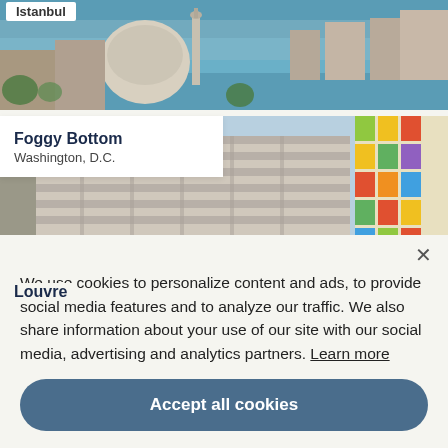[Figure (photo): Istanbul cityscape with mosque dome and minaret in foreground, Bosphorus strait and city buildings in background]
Istanbul
[Figure (photo): Foggy Bottom Washington D.C. - modern multi-story buildings with colorful facade panels]
Foggy Bottom
Washington, D.C.
[Figure (photo): Louvre museum facade with ornate stone architecture and blue sky]
Louvre
We use cookies to personalize content and ads, to provide social media features and to analyze our traffic. We also share information about your use of our site with our social media, advertising and analytics partners. Learn more
Accept all cookies